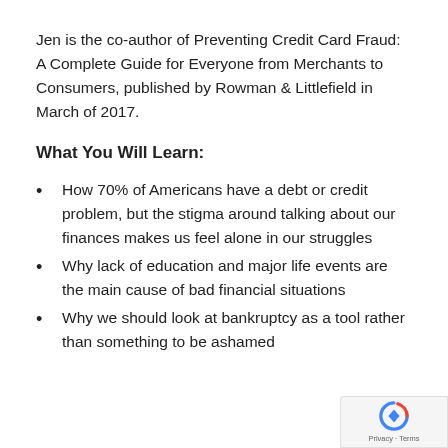Jen is the co-author of Preventing Credit Card Fraud: A Complete Guide for Everyone from Merchants to Consumers, published by Rowman & Littlefield in March of 2017.
What You Will Learn:
How 70% of Americans have a debt or credit problem, but the stigma around talking about our finances makes us feel alone in our struggles
Why lack of education and major life events are the main cause of bad financial situations
Why we should look at bankruptcy as a tool rather than something to be ashamed